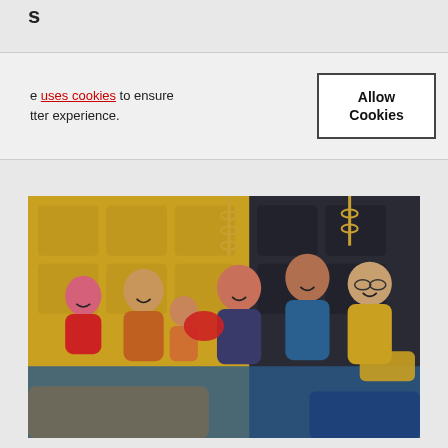s
e uses cookies to ensure tter experience.
[Figure (photo): Family group of approximately 6 people lounging together on a sofa/bed with blankets, in a room with yellow and dark tufted wall panels and decorative chains. People are smiling and laughing.]
Allow Cookies